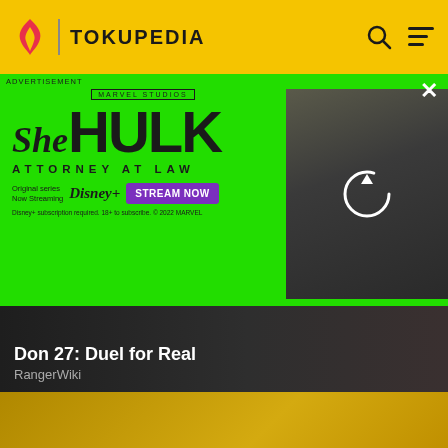TOKUPEDIA
[Figure (screenshot): She-Hulk Attorney at Law advertisement banner on green background. Marvel Studios. Original series Now Streaming Disney+. STREAM NOW button. Disney+ subscription required. 18+ to subscribe. © 2022 MARVEL. Right side shows a dark image of She-Hulk with a refresh/loading icon overlay.]
ADVERTISEMENT
[Figure (screenshot): Article card: Don 27: Duel for Real on dark background with video game/action imagery]
Don 27: Duel for Real
RangerWiki
We want your honest take on online discussions
SURVEY: ONLINE FORUMS